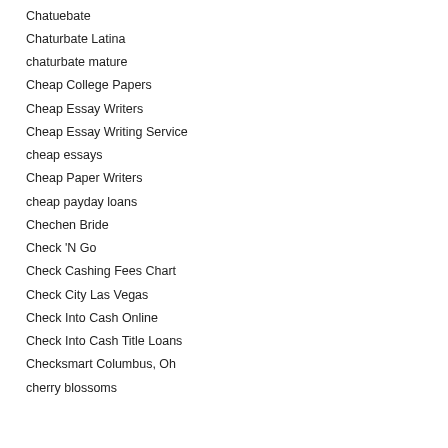Chatuebate
Chaturbate Latina
chaturbate mature
Cheap College Papers
Cheap Essay Writers
Cheap Essay Writing Service
cheap essays
Cheap Paper Writers
cheap payday loans
Chechen Bride
Check 'N Go
Check Cashing Fees Chart
Check City Las Vegas
Check Into Cash Online
Check Into Cash Title Loans
Checksmart Columbus, Oh
cherry blossoms